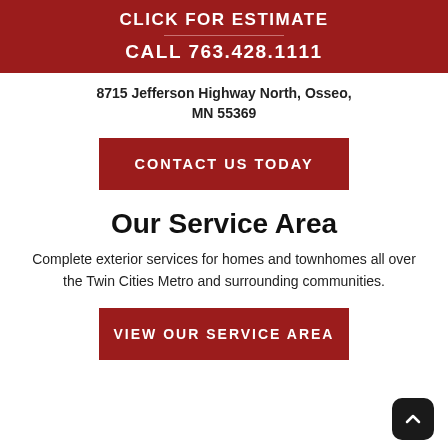CLICK FOR ESTIMATE
CALL 763.428.1111
8715 Jefferson Highway North, Osseo, MN 55369
CONTACT US TODAY
Our Service Area
Complete exterior services for homes and townhomes all over the Twin Cities Metro and surrounding communities.
VIEW OUR SERVICE AREA